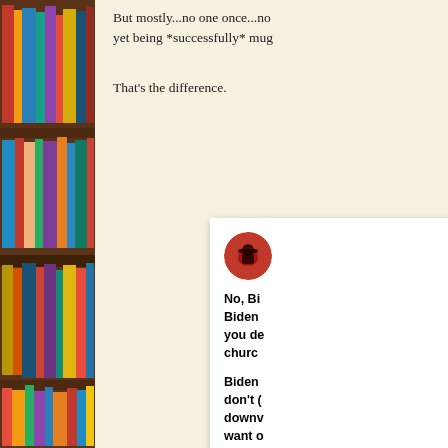[Figure (photo): Bookshelf with colorful books on wooden shelves, left side of page]
But mostly...no one once...no yet being *successfully* mug
That's the difference.
[Figure (screenshot): Social media post card with red circular avatar showing a cowboy silhouette, containing bold text: No, Bi Biden you de churc Biden don't downw want o sticke target minim reaso]